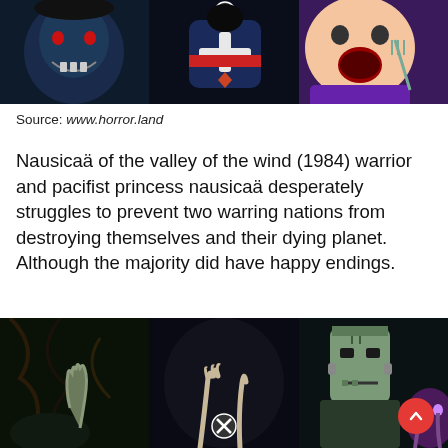[Figure (photo): Collage of horror/comic villain characters including a blue-faced demon, a skeleton-themed robot with X on chest, and a cartoon character, against dark background]
Source: www.horror.land
Nausicaä of the valley of the wind (1984) warrior and pacifist princess nausicaä desperately struggles to prevent two warring nations from destroying themselves and their dying planet. Although the majority did have happy endings.
[Figure (photo): Collage of horror monster figures including zombie-like creatures, Frankenstein's monster, and supernatural hands reaching out from dark forest setting. Red scroll-up button visible in lower right.]